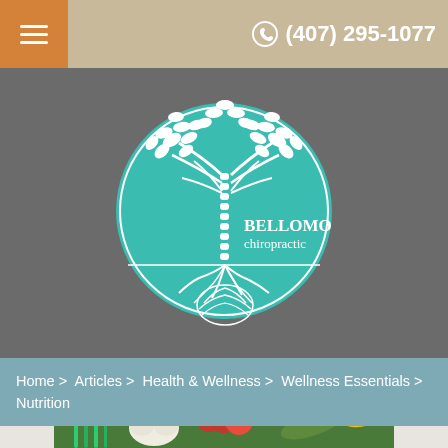(407) 295-1077
[Figure (logo): Bellomo Chiropractic logo: teal circle with white tree whose trunk is a spine, roots at base, leaves at top. Text: BELLOMO chiropractic]
Home > Articles > Health & Wellness > Wellness Essentials > Nutrition
[Figure (photo): Photo of fresh vegetables including radishes, green onions, cauliflower, cucumbers and other produce on a white background]